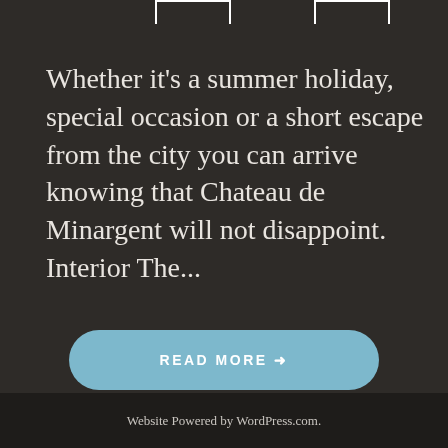[Figure (illustration): Two white rectangular bracket/corner decorations at the top of the page, one center-left and one center-right]
Whether it's a summer holiday, special occasion or a short escape from the city you can arrive knowing that Chateau de Minargent will not disappoint. Interior The...
READ MORE →
Website Powered by WordPress.com.